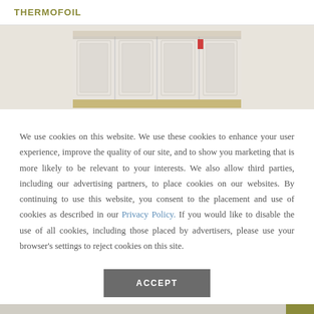THERMOFOIL
[Figure (photo): Photo of white painted kitchen cabinets near ceiling with yellow/green wall in background]
We use cookies on this website. We use these cookies to enhance your user experience, improve the quality of our site, and to show you marketing that is more likely to be relevant to your interests. We also allow third parties, including our advertising partners, to place cookies on our websites. By continuing to use this website, you consent to the placement and use of cookies as described in our Privacy Policy. If you would like to disable the use of all cookies, including those placed by advertisers, please use your browser's settings to reject cookies on this site.
ACCEPT